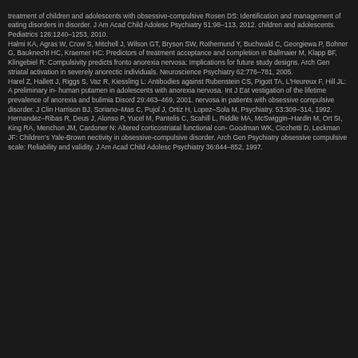treatment of children and adolescents with obsessive-compulsive Rosen DS: Identification and management of eating disorders in disorder. J Am Acad Child Adolesc Psychiatry 51:98–113, 2012. children and adolescents. Pediatrics 126:1240–1253, 2010. Halmi KA, Agras W, Crow S, Mitchell J, Wilson GT, Bryson SW, Rothemund Y, Buchwald C, Georgiewa P, Bohner G, Bauknecht HC, Kraemer HC: Predictors of treatment acceptance and completion in Ballmaier M, Klapp BF, Klingebiel R: Compulsivity predicts fronto anorexia nervosa: Implications for future study designs. Arch Gen striatal activation in severely anorectic individuals. Neuroscience Psychiatry 62:776–781, 2005. Harel Z, Hallett J, Riggs S, Vaz R, Kiessling L: Antibodies against Rubenstein CS, Pigott TA, L'Heureux F, Hill JL: A preliminary in- human putamen in adolescents with anorexia nervosa. Int J Eat vestigation of the lifetime prevalence of anorexia and bulimia Disord 29:463–469, 2001. nervosa in patients with obsessive compulsive disorder. J Clin Harrison BJ, Soriano–Mas C, Pujol J, Ortiz H, Lopez–Sola M, Psychiatry. 53:309–314, 1992. Hernandez–Ribas R, Deus J, Alonso P, Yucel M, Pantelis C, Scahill L, Riddle MA, McSwiggin–Hardin M, Ort SI, King RA, Menchon JM, Cardoner N: Altered corticostriatal functional con- Goodman WK, Cicchetti D, Leckman JF: Children's Yale-Brown nectivity in obsessive-compulsive disorder. Arch Gen Psychiatry obsessive compulsive scale: Reliability and validity. J Am Acad Child Adolesc Psychiatry 36:844–852, 1997.